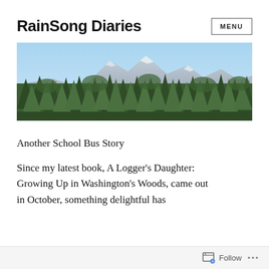RainSong Diaries
[Figure (screenshot): MENU button in a bordered box]
[Figure (photo): Landscape photo showing green trees with mountain and blue sky in background]
Another School Bus Story
Since my latest book, A Logger's Daughter: Growing Up in Washington's Woods, came out in October, something delightful has
Follow ...